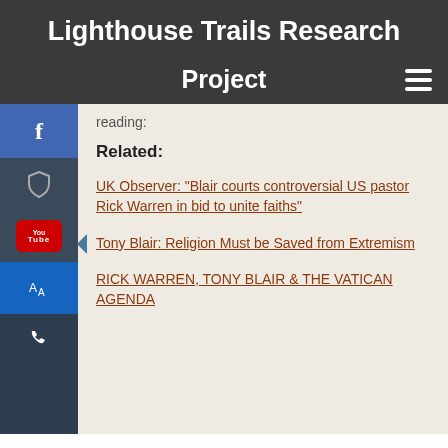Lighthouse Trails Research
Project
reading:
Related:
UK Observer: “Blair courts controversial US pastor Rick Warren in bid to unite faiths”
Tony Blair: Religion Must be Saved from Extremism
RICK WARREN, TONY BLAIR & THE VATICAN AGENDA